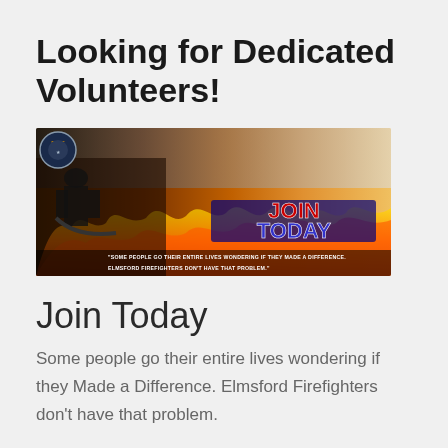Looking for Dedicated Volunteers!
[Figure (illustration): Firefighter recruitment banner showing firefighters in action with flames, a fire department badge/logo on the left, bold 'JOIN TODAY' text in center-right, and a quote at bottom: "Some people go their entire lives wondering if they made a difference. Elmsford Firefighters don't have that problem."]
Join Today
Some people go their entire lives wondering if they Made a Difference. Elmsford Firefighters don't have that problem.